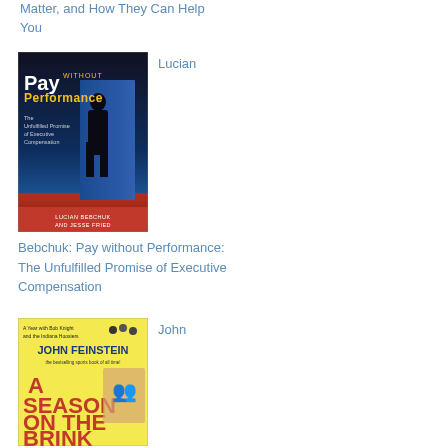Matter, and How They Can Help You
[Figure (photo): Book cover of 'Pay without Performance: The Unfulfilled Promise of Executive Compensation' by Lucian Bebchuk and Jesse Fried. Dark cover with silhouette of a person.]
Lucian
Bebchuk: Pay without Performance: The Unfulfilled Promise of Executive Compensation
[Figure (photo): Book cover of 'A Season on the Brink: A Year with Bob Knight and the Indiana Hoosiers' by John Feinstein. Yellow cover with large red text.]
John